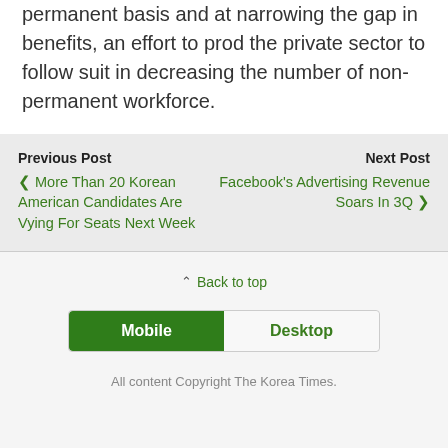permanent basis and at narrowing the gap in benefits, an effort to prod the private sector to follow suit in decreasing the number of non-permanent workforce.
Previous Post
‹ More Than 20 Korean American Candidates Are Vying For Seats Next Week
Next Post
Facebook's Advertising Revenue Soars In 3Q ›
⌃ Back to top
Mobile
Desktop
All content Copyright The Korea Times.